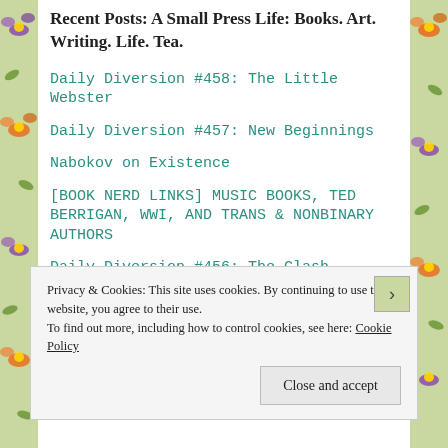Recent Posts: A Small Press Life: Books. Art. Writing. Life. Tea.
Daily Diversion #458: The Little Webster
Daily Diversion #457: New Beginnings
Nabokov on Existence
[BOOK NERD LINKS] MUSIC BOOKS, TED BERRIGAN, WWI, AND TRANS & NONBINARY AUTHORS
Daily Diversion #456: The Clash
Privacy & Cookies: This site uses cookies. By continuing to use this website, you agree to their use.
To find out more, including how to control cookies, see here: Cookie Policy
Close and accept